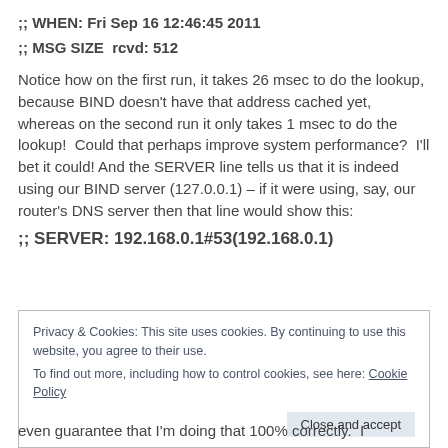;; WHEN: Fri Sep 16 12:46:45 2011
;; MSG SIZE  rcvd: 512
Notice how on the first run, it takes 26 msec to do the lookup, because BIND doesn’t have that address cached yet, whereas on the second run it only takes 1 msec to do the lookup!  Could that perhaps improve system performance?  I’ll bet it could! And the SERVER line tells us that it is indeed using our BIND server (127.0.0.1) – if it were using, say, our router’s DNS server then that line would show this:
;; SERVER: 192.168.0.1#53(192.168.0.1)
Privacy & Cookies: This site uses cookies. By continuing to use this website, you agree to their use.
To find out more, including how to control cookies, see here: Cookie Policy
even guarantee that I’m doing that 100% correctly.  I